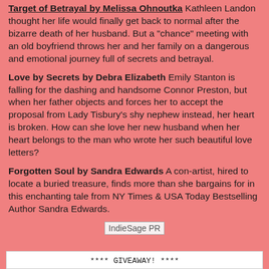Target of Betrayal by Melissa Ohnoutka Kathleen Landon thought her life would finally get back to normal after the bizarre death of her husband. But a "chance" meeting with an old boyfriend throws her and her family on a dangerous and emotional journey full of secrets and betrayal.
Love by Secrets by Debra Elizabeth Emily Stanton is falling for the dashing and handsome Connor Preston, but when her father objects and forces her to accept the proposal from Lady Tisbury's shy nephew instead, her heart is broken. How can she love her new husband when her heart belongs to the man who wrote her such beautiful love letters?
Forgotten Soul by Sandra Edwards A con-artist, hired to locate a buried treasure, finds more than she bargains for in this enchanting tale from NY Times & USA Today Bestselling Author Sandra Edwards.
[Figure (logo): IndieSage PR logo/image placeholder]
**** GIVEAWAY! ****